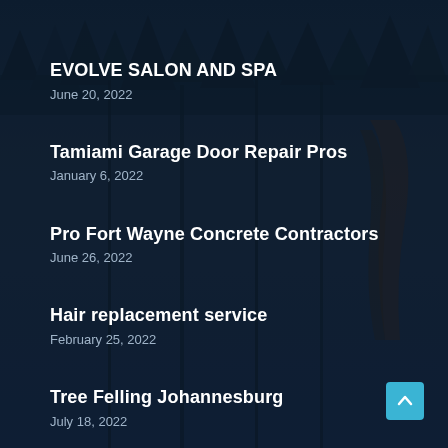EVOLVE SALON AND SPA
June 20, 2022
Tamiami Garage Door Repair Pros
January 6, 2022
Pro Fort Wayne Concrete Contractors
June 26, 2022
Hair replacement service
February 25, 2022
Tree Felling Johannesburg
July 18, 2022